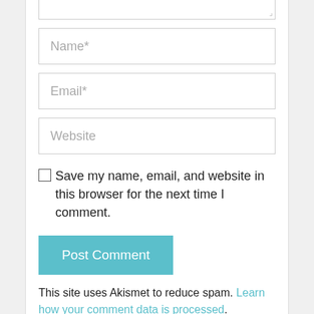[Figure (screenshot): Top portion of a textarea input field with resize handle at bottom right]
Name*
Email*
Website
Save my name, email, and website in this browser for the next time I comment.
Post Comment
This site uses Akismet to reduce spam. Learn how your comment data is processed.